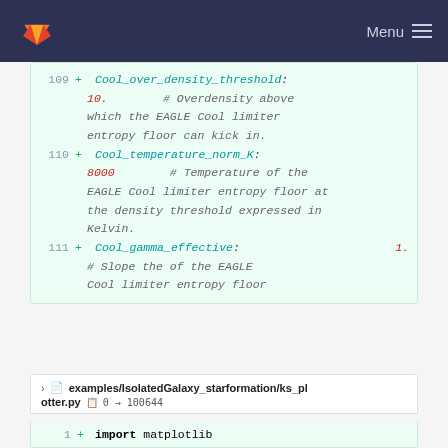GitLab Menu
109 + Cool_over_density_threshold:
10.  # Overdensity above which the EAGLE Cool limiter entropy floor can kick in.
110 + Cool_temperature_norm_K:
8000  # Temperature of the EAGLE Cool limiter entropy floor at the density threshold expressed in Kelvin.
111 + Cool_gamma_effective:  1.
# Slope the of the EAGLE Cool limiter entropy floor
examples/IsolatedGalaxy_starformation/ks_plotter.py  0 → 100644
1 + import matplotlib
2 + matplotlib.use("Agg")
3 + from pylab import *
4 + from scipy import stats